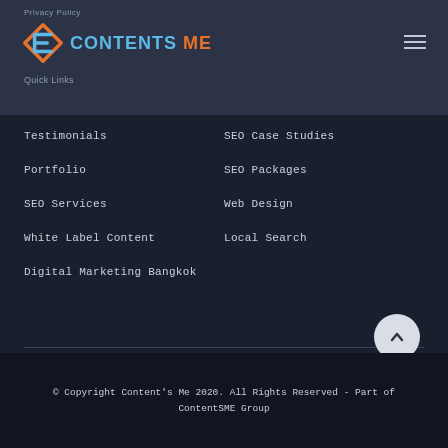Privacy Policy
[Figure (logo): Contents Me logo with angular C icon in orange and blue, text CONTENTS in blue and ME in orange]
Quick Links
Testimonials
SEO Case Studies
Portfolio
SEO Packages
SEO Services
Web Design
White Label Content
Local Search
Digital Marketing Bangkok
© Copyright Content's Me 2020. All Rights Reserved - Part of ContentSME Group